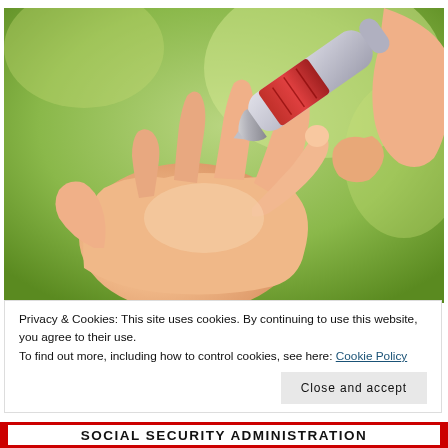[Figure (photo): Close-up photo of a blood glucose lancing device being held near a person's outstretched palm/finger against a green blurred background. The device is silver and red, positioned at the fingertip of the open hand.]
Privacy & Cookies: This site uses cookies. By continuing to use this website, you agree to their use.
To find out more, including how to control cookies, see here: Cookie Policy
Close and accept
SOCIAL SECURITY ADMINISTRATION